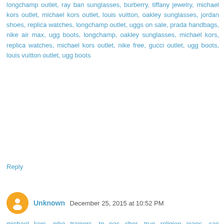longchamp outlet, ray ban sunglasses, burberry, tiffany jewelry, michael kors outlet, michael kors outlet, louis vuitton, oakley sunglasses, jordan shoes, replica watches, longchamp outlet, uggs on sale, prada handbags, nike air max, ugg boots, longchamp, oakley sunglasses, michael kors, replica watches, michael kors outlet, nike free, gucci outlet, ugg boots, louis vuitton outlet, ugg boots
Reply
Unknown  December 25, 2015 at 10:52 PM
michael kors, nike trainers, tn pas cher, true religion jeans, sac longchamp, sac guess, true religion outlet, ray ban pas cher, nike free run uk, air jordan pas cher, nike air max, true religion jeans, coach purses, nike air max, converse pas cher, vans pas cher, nike free, louboutin pas cher, timberland, hollister, michael kors, nike roshe run, true religion jeans, nike huarache, hogan, longchamp pas cher, vanessa bruno, air max, nike air max, oakley pas cher, hollister, lacoste pas cher, lululemon, burberry, abercrombie and fitch, ralph lauren uk, nike blazer, mulberry, replica handbags, air force, michael kors, longchamp, michael